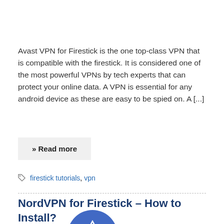Avast VPN for Firestick is the one top-class VPN that is compatible with the firestick. It is considered one of the most powerful VPNs by tech experts that can protect your online data. A VPN is essential for any android device as these are easy to be spied on. A [...]
» Read more
firestick tutorials, vpn
NordVPN for Firestick – How to Install?
[Figure (logo): NordVPN logo - blue circle with mountain/shield icon]